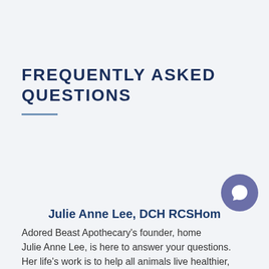FREQUENTLY ASKED QUESTIONS
Julie Anne Lee, DCH RCSHom
Adored Beast Apothecary's founder, homeo... Julie Anne Lee, is here to answer your questions. Her life's work is to help all animals live healthier,